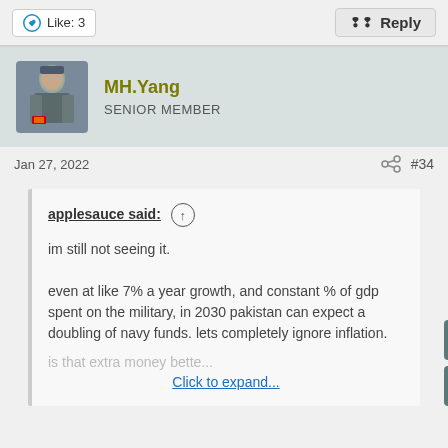Like: 3
Reply
MH.Yang
SENIOR MEMBER
Jan 27, 2022
#34
applesauce said: ↑
im still not seeing it.

even at like 7% a year growth, and constant % of gdp spent on the military, in 2030 pakistan can expect a doubling of navy funds. lets completely ignore inflation.
is that extra money bette...
Click to expand...